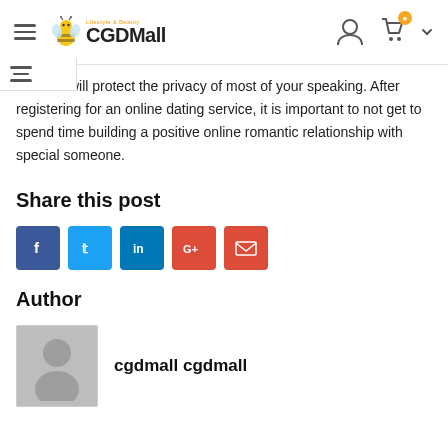CGDMall — Lifestyle & Beauty
site that will protect the privacy of most of your speaking. After registering for an online dating service, it is important to not get to spend time building a positive online romantic relationship with special someone.
Share this post
[Figure (infographic): Social sharing buttons: Facebook (blue), Twitter (light blue), LinkedIn (dark blue), Google+ (red), Email (red)]
Author
[Figure (photo): Generic user avatar placeholder image (gray background with silhouette)]
cgdmall cgdmall